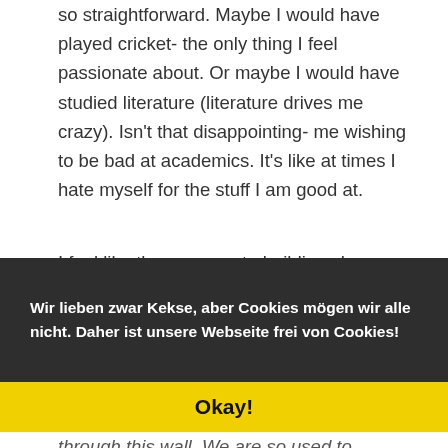so straightforward. Maybe I would have played cricket- the only thing I feel passionate about. Or maybe I would have studied literature (literature drives me crazy). Isn't that disappointing- me wishing to be bad at academics. It's like at times I hate myself for the stuff I am good at.

I feel like these concrete buildings have sucked our desires and our dreams. We are so used to comfort that compromise seems like a taboo. We have lost faith in ourselves. If we can make through it right now, we ca... de... o...
St... th...
Wir lieben zwar Kekse, aber Cookies mögen wir alle nicht. Daher ist unsere Webseite frei von Cookies!
Okay!
through this wall. We are so used to schedules and